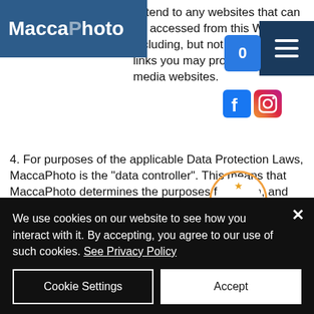MaccaPhoto
extend to any websites that can be accessed from this Website including, but not limited to, any links you may provide to social media websites.
4. For purposes of the applicable Data Protection Laws, MaccaPhoto is the "data controller". This means that MaccaPhoto determines the purposes for which, and the manner in which, your Data is processed. Data collected
5. We may collect the following Data, which includes personal Data, from you:
1. name;
2. contact Information such as email addresses and telephone numbers;
We use cookies on our website to see how you interact with it. By accepting, you agree to our use of such cookies. See Privacy Policy